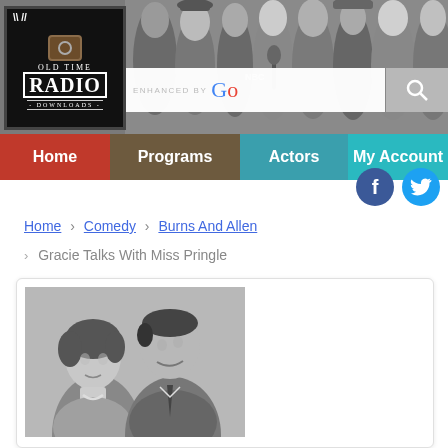[Figure (screenshot): Old Time Radio Downloads website header banner with logo and black-and-white photos of radio stars]
Home  Programs  Actors  My Account
Home > Comedy > Burns And Allen
> Gracie Talks With Miss Pringle
[Figure (photo): Black and white portrait photo of George Burns and Gracie Allen]